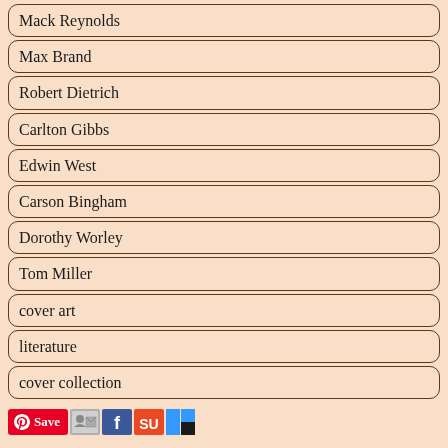Mack Reynolds
Max Brand
Robert Dietrich
Carlton Gibbs
Edwin West
Carson Bingham
Dorothy Worley
Tom Miller
cover art
literature
cover collection
Save [social share icons]